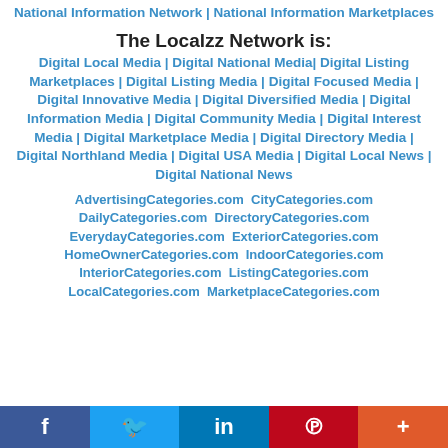National Information Network | National Information Marketplaces
The Localzz Network is:
Digital Local Media | Digital National Media | Digital Listing Marketplaces | Digital Listing Media | Digital Focused Media | Digital Innovative Media | Digital Diversified Media | Digital Information Media | Digital Community Media | Digital Interest Media | Digital Marketplace Media | Digital Directory Media | Digital Northland Media | Digital USA Media | Digital Local News | Digital National News
AdvertisingCategories.com  CityCategories.com  DailyCategories.com  DirectoryCategories.com  EverydayCategories.com  ExteriorCategories.com  HomeOwnerCategories.com  IndoorCategories.com  InteriorCategories.com  ListingCategories.com  LocalCategories.com  MarketplaceCategories.com
f  Twitter  in  Pinterest  +